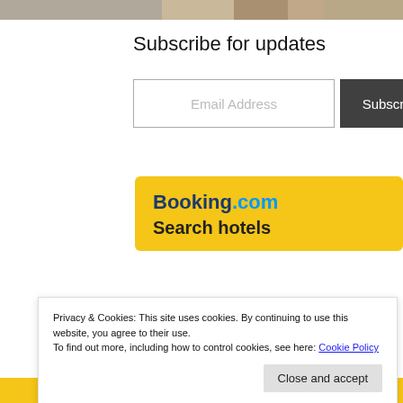[Figure (photo): Top image strip showing partial view of people, cropped at top of page]
Subscribe for updates
Email Address
Subscribe
[Figure (infographic): Booking.com hotel search widget with yellow background showing Booking.com logo and 'Search hotels' text]
Privacy & Cookies: This site uses cookies. By continuing to use this website, you agree to their use.
To find out more, including how to control cookies, see here: Cookie Policy
Close and accept
3 Sep, Sa